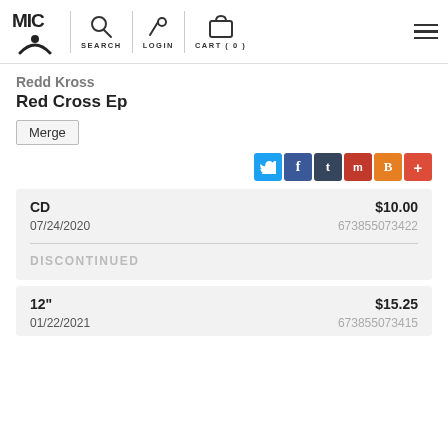[Figure (logo): MIC / person logo with horizontal lines for hamburger menu, search magnifier and key icons for navigation]
Redd Kross
Red Cross Ep
Merge
[Figure (infographic): Social sharing icons: Twitter, Facebook, Tumblr, Mix, Blogger, Google+]
| Format | Price |
| --- | --- |
| CD | $10.00 |
| 07/24/2020 | 673855073422 |
| DISCONTINUED |  |
| 12" | $15.25 |
| 01/22/2021 | 673855073415 |